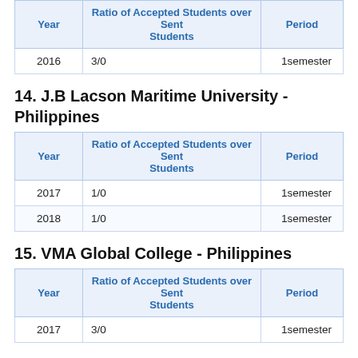| Year | Ratio of Accepted Students over Sent Students | Period |
| --- | --- | --- |
| 2016 | 3/0 | 1semester |
14. J.B Lacson Maritime University - Philippines
| Year | Ratio of Accepted Students over Sent Students | Period |
| --- | --- | --- |
| 2017 | 1/0 | 1semester |
| 2018 | 1/0 | 1semester |
15. VMA Global College - Philippines
| Year | Ratio of Accepted Students over Sent Students | Period |
| --- | --- | --- |
| 2017 | 3/0 | 1semester |